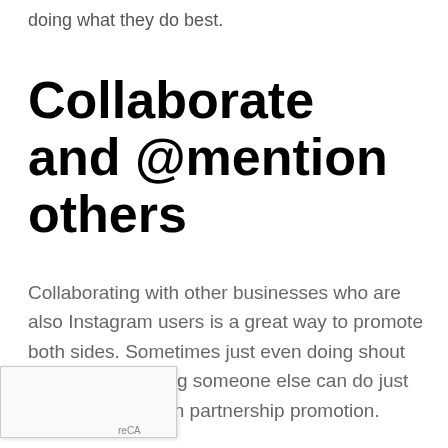doing what they do best.
Collaborate and @mention others
Collaborating with other businesses who are also Instagram users is a great way to promote both sides. Sometimes just even doing shout outs by mentioning someone else can do just as well as a full-on partnership promotion.